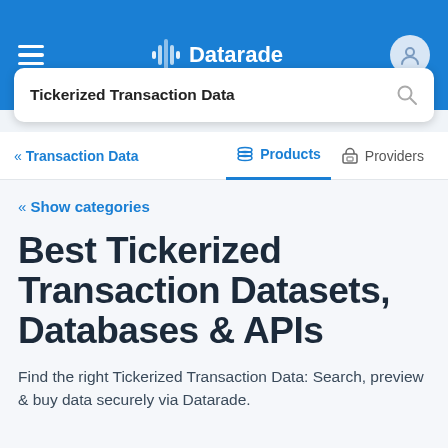Datarade
Tickerized Transaction Data
« Transaction Data   Products   Providers
« Show categories
Best Tickerized Transaction Datasets, Databases & APIs
Find the right Tickerized Transaction Data: Search, preview & buy data securely via Datarade.